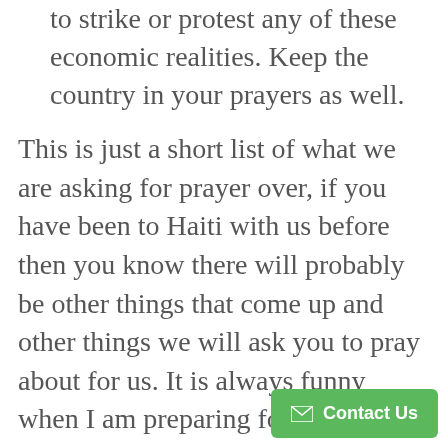to strike or protest any of these economic realities. Keep the country in your prayers as well.
This is just a short list of what we are asking for prayer over, if you have been to Haiti with us before then you know there will probably be other things that come up and other things we will ask you to pray about for us. It is always funny when I am preparing for a trip down to Haiti. I am so excited to see the kids but it is really difficult to leave my family.  I also think about how difficult it must be for Jess not being able to go down and see the kids and being with the kids at h… It is one of those times whe…